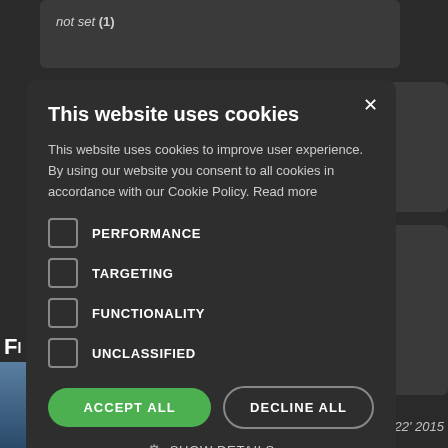not set (1)
This website uses cookies
This website uses cookies to improve user experience. By using our website you consent to all cookies in accordance with our Cookie Policy. Read more
PERFORMANCE
TARGETING
FUNCTIONALITY
UNCLASSIFIED
ACCEPT ALL
DECLINE ALL
SHOW DETAILS
122' 2015